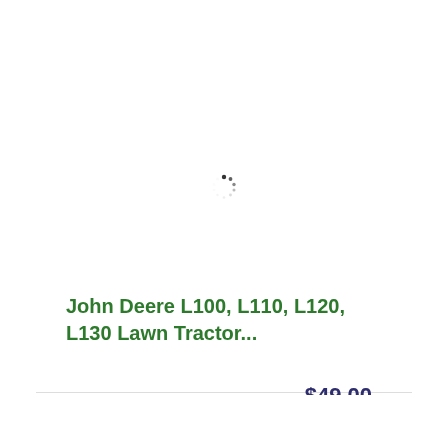[Figure (other): Loading spinner (circular spinner animation indicator)]
John Deere L100, L110, L120, L130 Lawn Tractor...
$49.00